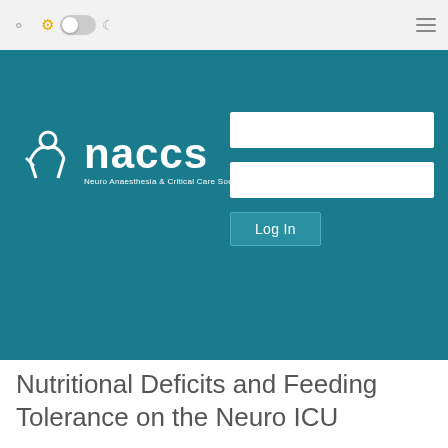NACCS - Neuro Anaesthesia & Critical Care Society - Login page with search, theme toggle, and menu controls
[Figure (logo): NACCS logo: white stylized figure icon with 'naccs' text and 'Neuro Anaesthesia & Critical Care Society' subtitle on teal background, alongside a login form with two input fields and a Log In button]
Nutritional Deficits and Feeding Tolerance on the Neuro ICU